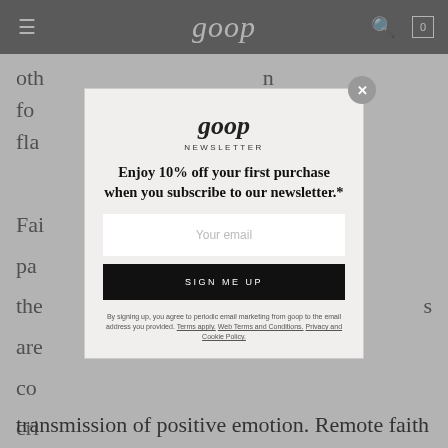goop
oth... for... fla...
Fai... pa... the... are... co... cri... ph... rea... an...
[Figure (screenshot): Goop newsletter signup modal overlay. Contains goop logo, NEWSLETTER heading, promotional text 'Enjoy 10% off your first purchase when you subscribe to our newsletter.*', email input field, SIGN ME UP button, and terms text.]
transmission of positive emotion. Remote faith